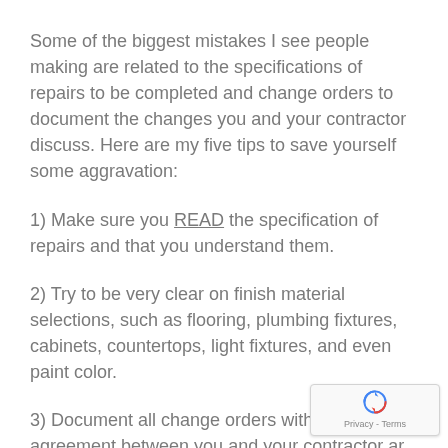Some of the biggest mistakes I see people making are related to the specifications of repairs to be completed and change orders to document the changes you and your contractor discuss. Here are my five tips to save yourself some aggravation:
1) Make sure you READ the specification of repairs and that you understand them.
2) Try to be very clear on finish material selections, such as flooring, plumbing fixtures, cabinets, countertops, light fixtures, and even paint color.
3) Document all change orders with a written agreement between you and your contractor ar...